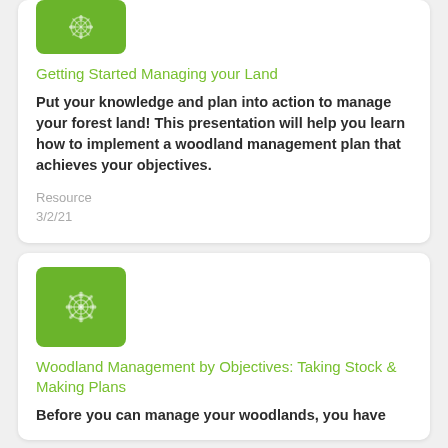[Figure (illustration): Green square icon with a decorative flower/snowflake pattern in light gray, partially visible at top of first card]
Getting Started Managing your Land
Put your knowledge and plan into action to manage your forest land! This presentation will help you learn how to implement a woodland management plan that achieves your objectives.
Resource
3/2/21
[Figure (illustration): Green square icon with a decorative flower/snowflake pattern in light gray, in second card]
Woodland Management by Objectives: Taking Stock & Making Plans
Before you can manage your woodlands, you have